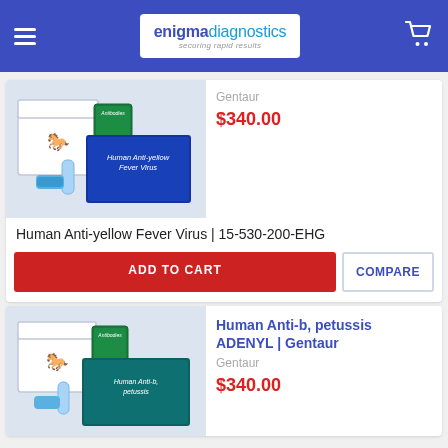enigmadiagnostics — securing rapid results
Gentaur
$340.00
[Figure (photo): Product photo of Human Anti-yellow Fever Virus diagnostic kit with white box and blue reagent box labeled 'Human Anti-yellow Fever Virus']
Human Anti-yellow Fever Virus | 15-530-200-EHG
ADD TO CART
COMPARE
Human Anti-b, petussis ADENYL | Gentaur
Gentaur
$340.00
[Figure (photo): Product photo of Human Anti-b petussis ADENYL diagnostic kit with white box and teal reagent box]